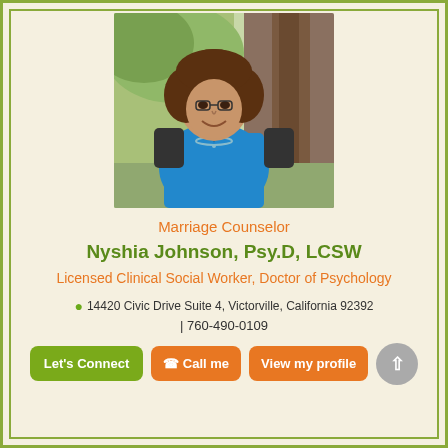[Figure (photo): Professional headshot of Nyshia Johnson, a woman with curly brown hair wearing a blue top and beaded necklace, leaning against a tree outdoors]
Marriage Counselor
Nyshia Johnson, Psy.D, LCSW
Licensed Clinical Social Worker, Doctor of Psychology
14420 Civic Drive Suite 4, Victorville, California 92392
| 760-490-0109
Let's Connect | Call me | View my profile